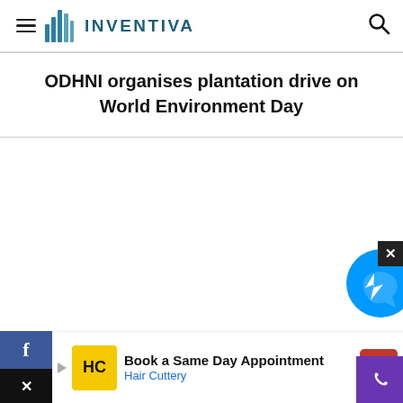INVENTIVA — navigation header with hamburger menu, logo, and search icon
ODHNI organises plantation drive on World Environment Day
[Figure (other): Large white/blank content area below the article title, representing the body of the article page which is not loaded]
[Figure (other): Advertisement banner: Book a Same Day Appointment — Hair Cuttery, with Hair Cuttery logo (HC in yellow square) and navigation icon]
[Figure (other): Messenger chat bubble (blue circle) in bottom right corner]
[Figure (other): Facebook social share button (blue bar) bottom left, and X/Twitter icon below it]